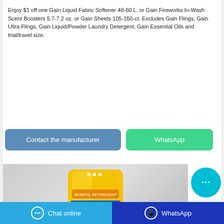Enjoy $1 off one Gain Liquid Fabric Softener 48-60 L. or Gain Fireworks In-Wash Scent Boosters 5.7-7.2 oz. or Gain Sheets 105-160-ct. Excludes Gain Flings, Gain Ultra Flings, Gain Liquid/Powder Laundry Detergent, Gain Essential Oils and trial/travel size.
[Figure (other): Two buttons: 'Contact the manufacturer' (blue) and 'WhatsApp' (green)]
[Figure (photo): Product image of a yellow laundry detergent powder bag with blue text, on a grey background. A cyan chat bubble icon overlaps the right edge.]
Chat online    WhatsApp